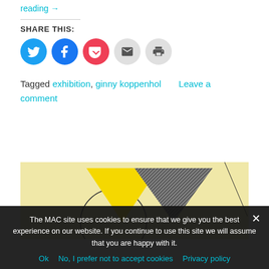reading →
SHARE THIS:
[Figure (infographic): Social share buttons: Twitter (blue), Facebook (blue), Pocket (red), Email (grey), Print (grey) — circular icons]
Tagged exhibition, ginny koppenhol   Leave a comment
[Figure (illustration): Artwork image with yellow background showing a yellow triangle shape with black/grey textured triangle overlay and partial circle outline]
The MAC site uses cookies to ensure that we give you the best experience on our website. If you continue to use this site we will assume that you are happy with it.
Ok   No, I prefer not to accept cookies   Privacy policy